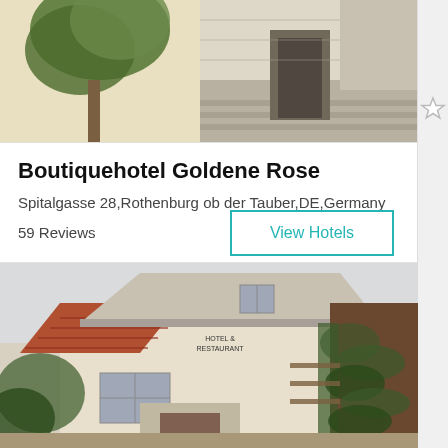[Figure (photo): Top portion of a hotel exterior photo showing stone steps, yellow wall, and tree]
Boutiquehotel Goldene Rose
Spitalgasse 28,Rothenburg ob der Tauber,DE,Germany
59 Reviews
View Hotels
[Figure (photo): Photo of hotel building exterior with tiled roof, ivy-covered walls, and sign reading hotel restaurant]